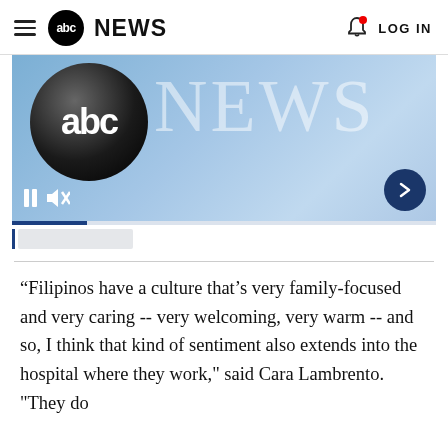abc NEWS  LOG IN
[Figure (screenshot): ABC News video player thumbnail showing the ABC News logo (large black circle with 'abc' in white and 'NEWS' in light gray serif text on a blue gradient background). Video controls (pause button, mute icon) visible at bottom left, arrow navigation button at bottom right. A progress bar and caption area appear below.]
“Filipinos have a culture that’s very family-focused and very caring -- very welcoming, very warm -- and so, I think that kind of sentiment also extends into the hospital where they work," said Cara Lambrento. "They do